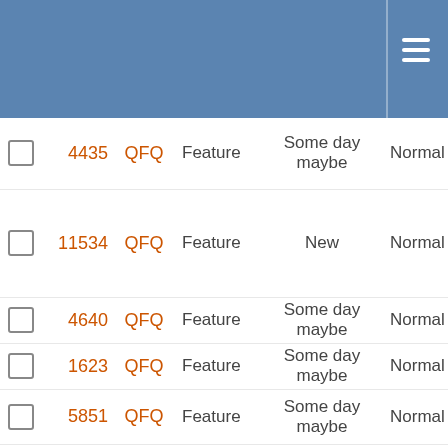|  | # | Project | Type | Status | Priority | Subject |
| --- | --- | --- | --- | --- | --- | --- |
|  | 4435 | QFQ | Feature | Some day maybe | Normal | F s t |
|  | 11534 | QFQ | Feature | New | Normal | F s T E f |
|  | 4640 | QFQ | Feature | Some day maybe | Normal | F F |
|  | 1623 | QFQ | Feature | Some day maybe | Normal | F C |
|  | 5851 | QFQ | Feature | Some day maybe | Normal | C i i N |
|  | 7108 | QFQ | Feature | Some day maybe | Normal | C E C T |
|  | 5892 | QFQ | Feature | Some day maybe | Normal | r C r |